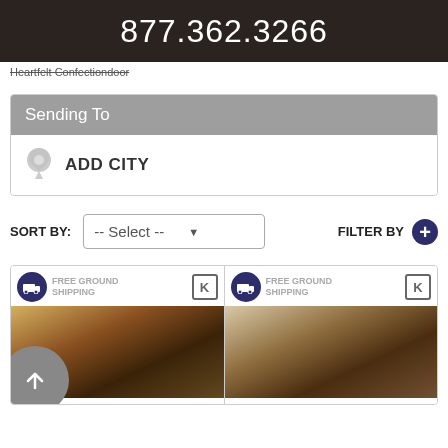877.362.3266
Heartfelt Confectiondoor
Sending To
ADD CITY
SORT BY: -- Select --
FILTER BY
FREE GROUND SHIPPING K
FREE GROUND SHIPPING K
[Figure (photo): Gift basket with chocolates and dried fruits, left product]
[Figure (photo): Gift basket with chocolates and dried fruits, right product]